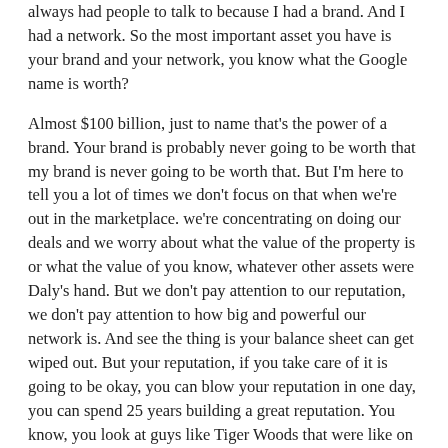always had people to talk to because I had a brand. And I had a network. So the most important asset you have is your brand and your network, you know what the Google name is worth?
Almost $100 billion, just to name that's the power of a brand. Your brand is probably never going to be worth that my brand is never going to be worth that. But I'm here to tell you a lot of times we don't focus on that when we're out in the marketplace. we're concentrating on doing our deals and we worry about what the value of the property is or what the value of you know, whatever other assets were Daly's hand. But we don't pay attention to our reputation, we don't pay attention to how big and powerful our network is. And see the thing is your balance sheet can get wiped out. But your reputation, if you take care of it is going to be okay, you can blow your reputation in one day, you can spend 25 years building a great reputation. You know, you look at guys like Tiger Woods that were like on the top, and then they do one stupid thing. And it just blows everything up, right.